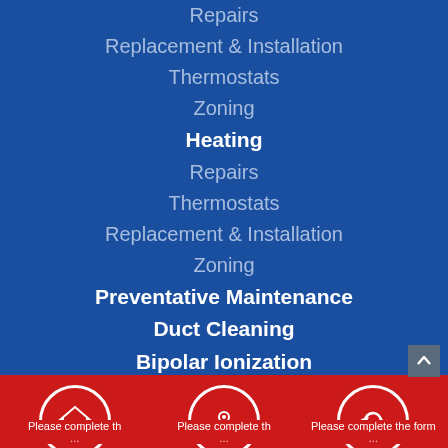Repairs
Replacement & Installation
Thermostats
Zoning
Heating
Repairs
Thermostats
Replacement & Installation
Zoning
Preventative Maintenance
Duct Cleaning
Bipolar Ionization
[Figure (infographic): Three circular icons on red banner with blue divider bars beneath each and partial text 'Please complete th' / 'Please complete th' / 'Please complete the form']